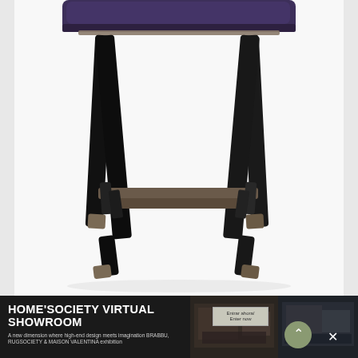[Figure (photo): Close-up product photo of a luxury bar stool with purple/navy upholstered seat, black lacquered legs with brass/bronze metal cap feet and footrest crossbar. The stool is photographed against a white background, showing legs, footrest and bottom portion of the seat.]
HOME'SOCIETY VIRTUAL SHOWROOM
A new dimension where high-end design meets imagination BRABBU, RUGSOCIETY & MAISON VALENTINA exhibition